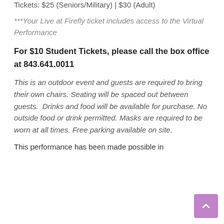Tickets: $25 (Seniors/Military) | $30 (Adult)
***Your Live at Firefly ticket includes access to the Virtual Performance
For $10 Student Tickets, please call the box office at 843.641.0011
This is an outdoor event and guests are required to bring their own chairs. Seating will be spaced out between guests.  Drinks and food will be available for purchase. No outside food or drink permitted. Masks are required to be worn at all times. Free parking available on site.
This performance has been made possible in